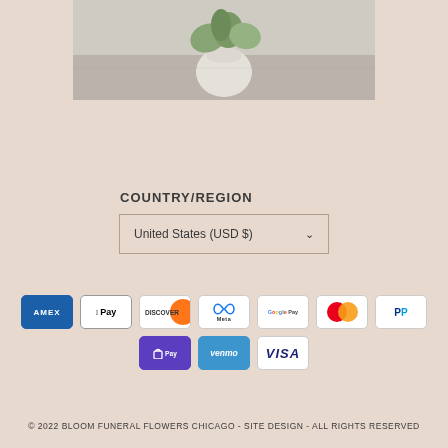[Figure (photo): Partial photo of a floral arrangement in a white round vase with green foliage on a gray surface]
COUNTRY/REGION
United States (USD $)
[Figure (other): Payment method icons: American Express, Apple Pay, Discover, Meta Pay, Google Pay, Mastercard, PayPal, Shop Pay, Venmo, Visa]
© 2022 BLOOM FUNERAL FLOWERS CHICAGO - SITE DESIGN - ALL RIGHTS RESERVED